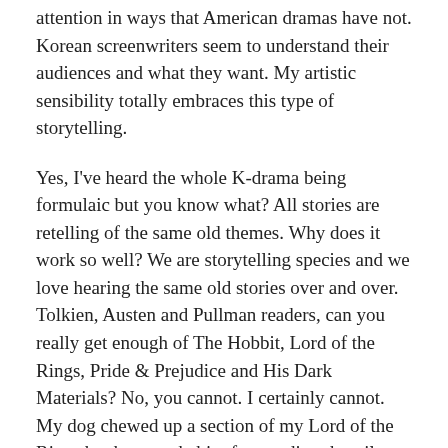attention in ways that American dramas have not. Korean screenwriters seem to understand their audiences and what they want. My artistic sensibility totally embraces this type of storytelling.
Yes, I've heard the whole K-drama being formulaic but you know what? All stories are retelling of the same old themes. Why does it work so well? We are storytelling species and we love hearing the same old stories over and over. Tolkien, Austen and Pullman readers, can you really get enough of The Hobbit, Lord of the Rings, Pride & Prejudice and His Dark Materials? No, you cannot. I certainly cannot. My dog chewed up a section of my Lord of the Rings book so my habit of re-reading the trilogy is somewhat on hold until I can get my hands on a new copy. I can't with the digital reading except minimally. Give me a book in my hand.